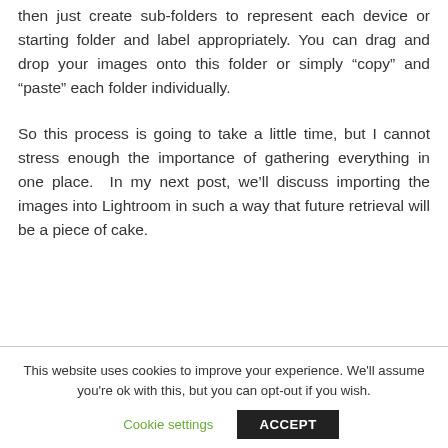then just create sub-folders to represent each device or starting folder and label appropriately. You can drag and drop your images onto this folder or simply “copy” and “paste” each folder individually.
So this process is going to take a little time, but I cannot stress enough the importance of gathering everything in one place.  In my next post, we’ll discuss importing the images into Lightroom in such a way that future retrieval will be a piece of cake.
This website uses cookies to improve your experience. We'll assume you're ok with this, but you can opt-out if you wish.
Cookie settings
ACCEPT